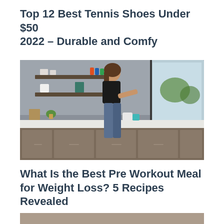Top 12 Best Tennis Shoes Under $50 2022 – Durable and Comfy
[Figure (photo): A woman in workout clothes (black crop top and blue leggings) standing at a modern kitchen counter, preparing food or a drink. The kitchen has dark wood cabinets, floating shelves with bottles and containers, and a large window with natural light.]
What Is the Best Pre Workout Meal for Weight Loss? 5 Recipes Revealed
[Figure (photo): Partial view of another image at the bottom of the page, appears to be a food or health-related photo, cropped.]